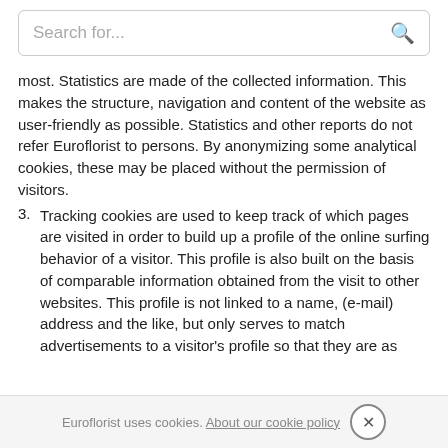Search for...
most. Statistics are made of the collected information. This makes the structure, navigation and content of the website as user-friendly as possible. Statistics and other reports do not refer Euroflorist to persons. By anonymizing some analytical cookies, these may be placed without the permission of visitors.
3. Tracking cookies are used to keep track of which pages are visited in order to build up a profile of the online surfing behavior of a visitor. This profile is also built on the basis of comparable information obtained from the visit to other websites. This profile is not linked to a name, (e-mail) address and the like, but only serves to match advertisements to a visitor's profile so that they are as relevant as possible.
For all specific types of cookies that Euroflorist uses and its providers, please view "Cookie Information". Through the settings you can change which cookies you want to accept and which you do not.
Euroflorist uses cookies. About our cookie policy